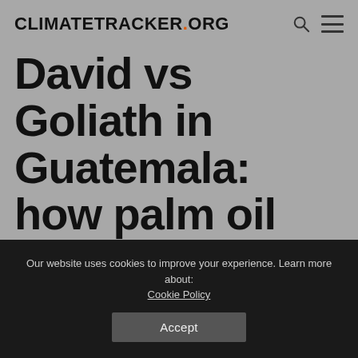CLIMATETRACKER.ORG
David vs Goliath in Guatemala: how palm oil companies encroach on indigenous land
Jody García | February 17, 2021
Our website uses cookies to improve your experience. Learn more about: Cookie Policy
Accept